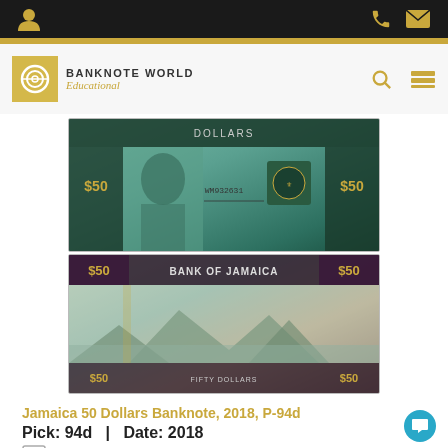Banknote World Educational - navigation header
[Figure (photo): Front and back of Jamaica 50 Dollars Banknote 2018 P-94d. Front shows portrait, coat of arms, serial number WM932631, value $50. Back shows Bank of Jamaica text, landscape scene, value $50.]
Jamaica 50 Dollars Banknote, 2018, P-94d
Pick: 94d   |   Date: 2018
Add to My Collection